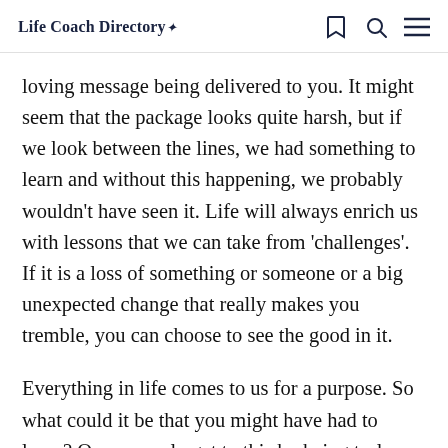Life Coach Directory*
loving message being delivered to you. It might seem that the package looks quite harsh, but if we look between the lines, we had something to learn and without this happening, we probably wouldn't have seen it. Life will always enrich us with lessons that we can take from 'challenges'. If it is a loss of something or someone or a big unexpected change that really makes you tremble, you can choose to see the good in it.
Everything in life comes to us for a purpose. So what could it be that you might have had to learn? One can only get to this by being truly and honestly